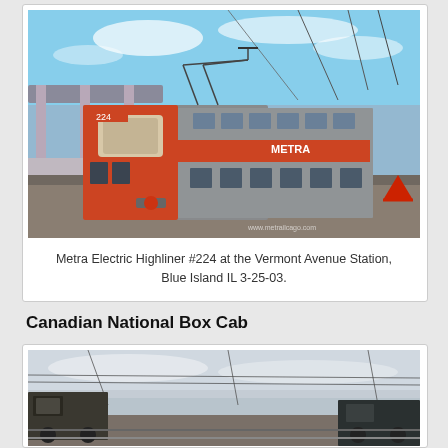[Figure (photo): Metra Electric Highliner #224 at the Vermont Avenue Station, Blue Island IL. Orange and gray double-decker commuter rail car on tracks next to a platform with overhead electrical infrastructure.]
Metra Electric Highliner #224 at the Vermont Avenue Station, Blue Island IL 3-25-03.
Canadian National Box Cab
[Figure (photo): Partial view of a Canadian National Box Cab locomotive, showing a dark-colored boxy electric locomotive on tracks under an overcast sky.]